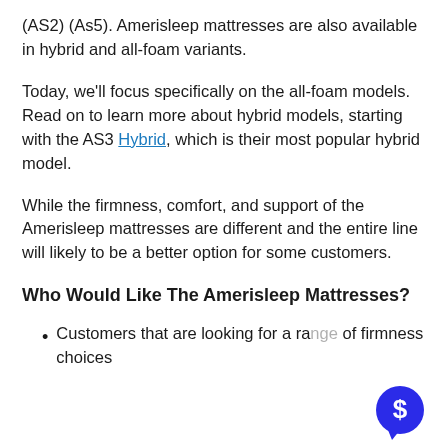(AS2) (As5). Amerisleep mattresses are also available in hybrid and all-foam variants.
Today, we'll focus specifically on the all-foam models. Read on to learn more about hybrid models, starting with the AS3 Hybrid, which is their most popular hybrid model.
While the firmness, comfort, and support of the Amerisleep mattresses are different and the entire line will likely to be a better option for some customers.
Who Would Like The Amerisleep Mattresses?
Customers that are looking for a range of firmness choices